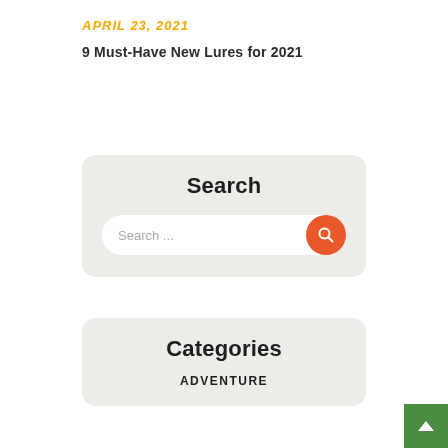APRIL 23, 2021
9 Must-Have New Lures for 2021
Search
Search ...
Categories
ADVENTURE